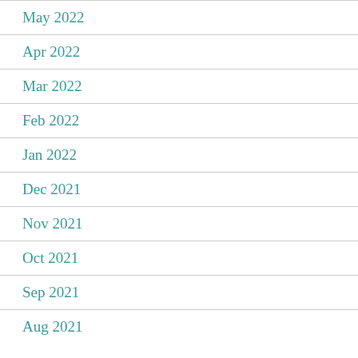May 2022
Apr 2022
Mar 2022
Feb 2022
Jan 2022
Dec 2021
Nov 2021
Oct 2021
Sep 2021
Aug 2021